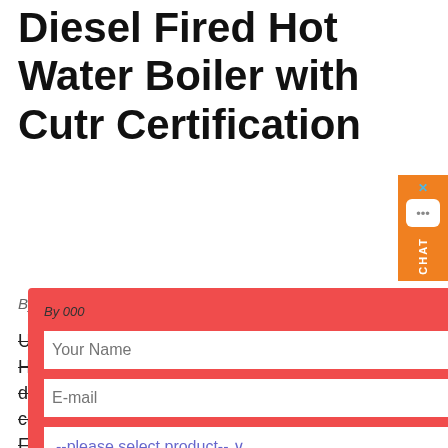Diesel Fired Hot Water Boiler with Cutr Certification
By 000   0 Comments
Ultra-Compact Hydronic Heating. Highly efficient heating and continuous domestic hot water appliance in one compact efficient unit. Features – Fueled by diesel and operated by 12V for off grid applications. – Available with a 110 electric element. – The all-in-one design of the Aqua-Hot series results in
[Figure (other): Contact form modal overlay with red background containing fields: Your Name, E-mail, product selector dropdown (--please select product--), capacity field, More information button, and Submit button. Has a close X button in top right corner.]